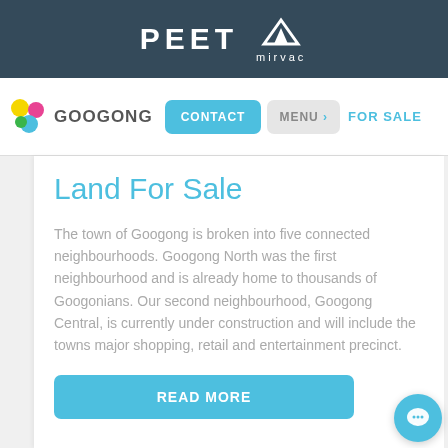PEET mirvac
[Figure (logo): Googong logo with coloured circles and GOOGONG wordmark, alongside CONTACT button, MENU > button, and FOR SALE navigation link]
Land For Sale
The town of Googong is broken into five connected neighbourhoods. Googong North was the first neighbourhood and is already home to thousands of Googonians. Our second neighbourhood, Googong Central, is currently under construction and will include the towns major shopping, retail and entertainment precinct.
READ MORE